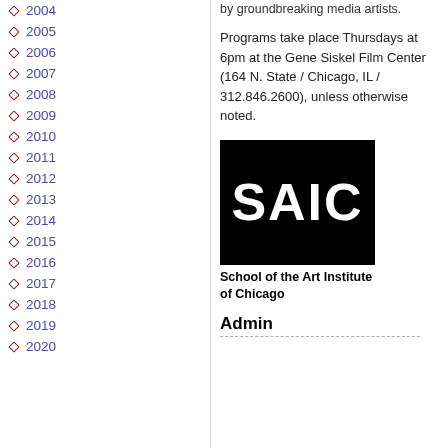2004
2005
2006
2007
2008
2009
2010
2011
2012
2013
2014
2015
2016
2017
2018
2019
2020
by groundbreaking media artists.
Programs take place Thursdays at 6pm at the Gene Siskel Film Center (164 N. State / Chicago, IL / 312.846.2600), unless otherwise noted.
[Figure (logo): SAIC logo — black rectangle with white bold text reading SAIC, with caption School of the Art Institute of Chicago]
School of the Art Institute of Chicago
Admin